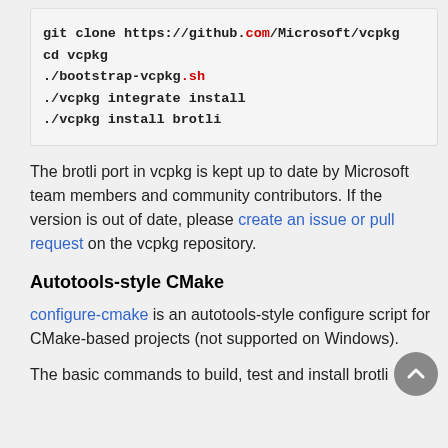git clone https://github.com/Microsoft/vcpkg
cd vcpkg
./bootstrap-vcpkg.sh
./vcpkg integrate install
./vcpkg install brotli
The brotli port in vcpkg is kept up to date by Microsoft team members and community contributors. If the version is out of date, please create an issue or pull request on the vcpkg repository.
Autotools-style CMake
configure-cmake is an autotools-style configure script for CMake-based projects (not supported on Windows).
The basic commands to build, test and install brotli